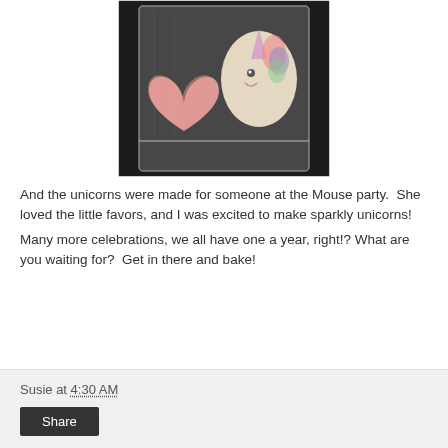[Figure (photo): Cellophane bag containing decorated cookies: a pink heart-shaped cookie and a colorful unicorn-shaped cookie, on a dark background.]
And the unicorns were made for someone at the Mouse party.  She loved the little favors, and I was excited to make sparkly unicorns!
Many more celebrations, we all have one a year, right!?  What are you waiting for?  Get in there and bake!
Susie at 4:30 AM
Share